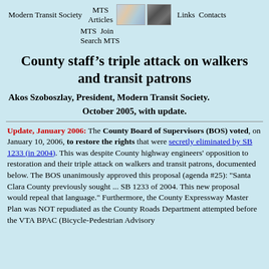Modern Transit Society  MTS Articles  Links  Contacts  MTS  Join  Search MTS
County staff’s triple attack on walkers and transit patrons
Akos Szoboszlay, President, Modern Transit Society.
October 2005, with update.
Update, January 2006: The County Board of Supervisors (BOS) voted, on January 10, 2006, to restore the rights that were secretly eliminated by SB 1233 (in 2004). This was despite County highway engineers' opposition to restoration and their triple attack on walkers and transit patrons, documented below. The BOS unanimously approved this proposal (agenda #25): "Santa Clara County previously sought ... SB 1233 of 2004. This new proposal would repeal that language." Furthermore, the County Expressway Master Plan was NOT repudiated as the County Roads Department attempted before the VTA BPAC (Bicycle-Pedestrian Advisory